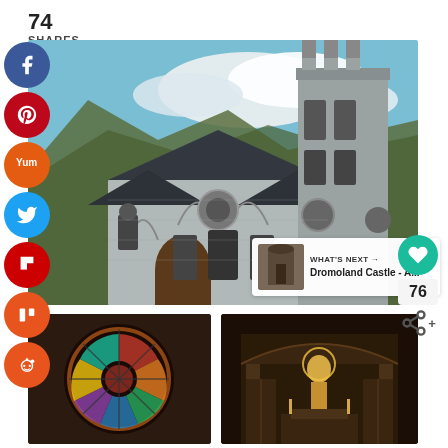74
SHARES
[Figure (photo): Gothic stone church with tall tower against blue sky with white clouds, set against a hillside]
[Figure (infographic): Social media share buttons: Facebook (blue), Pinterest (red), Yummly (orange), Twitter (blue), Flipboard (red), Mix (orange), Reddit (orange)]
[Figure (infographic): Heart/like button (teal) and share count 76 with share icon]
[Figure (infographic): What's Next panel: Dromoland Castle - A... with thumbnail]
[Figure (photo): Stained glass rose window interior]
[Figure (photo): Interior of church with golden statue and ornate details]